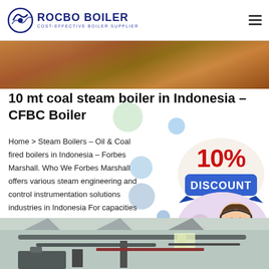ROCBO BOILER — COST-EFFECTIVE BOILER SUPPLIER
[Figure (photo): Top banner image of industrial boiler or related equipment]
10 mt coal steam boiler in Indonesia – CFBC Boiler
Home > Steam Boilers – Oil & Coal fired boilers in Indonesia – Forbes Marshall. Who We Forbes Marshall offers various steam engineering and control instrumentation solutions industries in Indonesia For capacities from 10 T
[Figure (infographic): 10% Discount promotional badge in red and blue colors]
[Figure (photo): Customer service representative with headset, smiling]
Get Price
[Figure (photo): Bottom image of industrial boiler room interior with pipes and machinery]